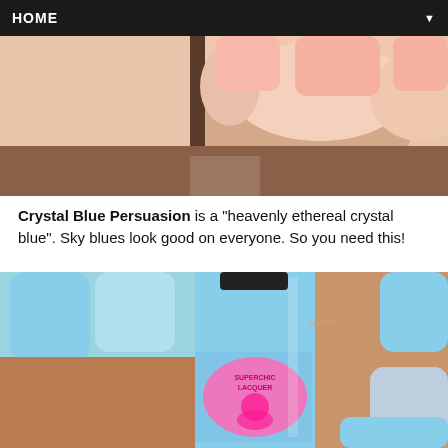HOME
[Figure (photo): Close-up photo of fingers/nails with bare/natural nail polish, partially cropped at top]
Crystal Blue Persuasion is a "heavenly ethereal crystal blue". Sky blues look good on everyone. So you need this!
[Figure (photo): Photo of a light blue nail polish bottle labeled 'Superchic Lacquer' with pink branding, alongside a hand showing nails painted in sky blue and one glittery silver nail]